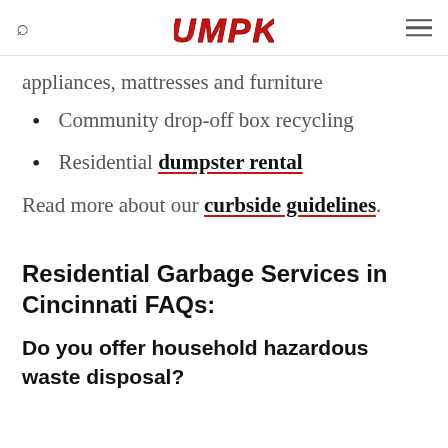RUMPKE
appliances, mattresses and furniture
Community drop-off box recycling
Residential dumpster rental
Read more about our curbside guidelines.
Residential Garbage Services in Cincinnati FAQs:
Do you offer household hazardous waste disposal?